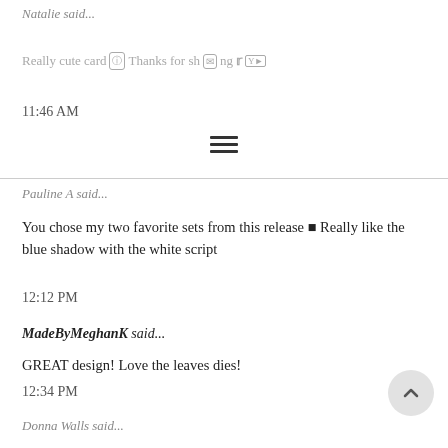Natalie said...
Really cute card Thanks for sharing
11:46 AM
Pauline A said...
You chose my two favorite sets from this release  Really like the blue shadow with the white script
12:12 PM
MadeByMeghanK said...
GREAT design! Love the leaves dies!
12:34 PM
Donna Walls said...
Great card, I won't say CAS but Sweet & Simple. Great color palette too.
1:25 PM